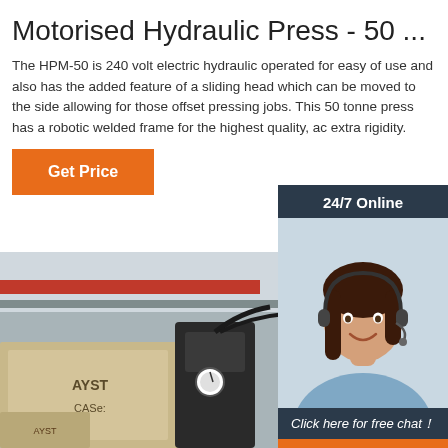Motorised Hydraulic Press - 50 ...
The HPM-50 is 240 volt electric hydraulic operated for easy of use and also has the added feature of a sliding head which can be moved to the side allowing for those offset pressing jobs. This 50 tonne press has a robotic welded frame for the highest quality, ac extra rigidity.
[Figure (infographic): 24/7 Online chat widget with woman wearing headset, dark background, orange QUOTATION button]
[Figure (photo): Warehouse interior showing industrial machinery and AYST branded crates; bottom portion of page]
[Figure (logo): TOP logo — orange dots pattern with orange text TOP]